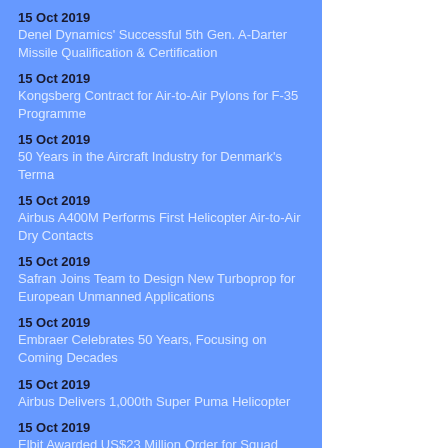15 Oct 2019
Denel Dynamics' Successful 5th Gen. A-Darter Missile Qualification & Certification
15 Oct 2019
Kongsberg Contract for Air-to-Air Pylons for F-35 Programme
15 Oct 2019
50 Years in the Aircraft Industry for Denmark's Terma
15 Oct 2019
Airbus A400M Performs First Helicopter Air-to-Air Dry Contacts
15 Oct 2019
Safran Joins Team to Design New Turboprop for European Unmanned Applications
15 Oct 2019
Embraer Celebrates 50 Years, Focusing on Coming Decades
15 Oct 2019
Airbus Delivers 1,000th Super Puma Helicopter
15 Oct 2019
Elbit Awarded US$23 Million Order for Squad Binocular Night Vision Goggle System